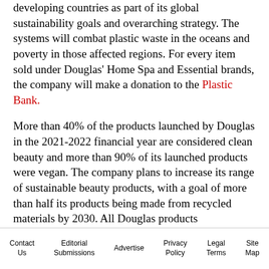developing countries as part of its global sustainability goals and overarching strategy. The systems will combat plastic waste in the oceans and poverty in those affected regions. For every item sold under Douglas' Home Spa and Essential brands, the company will make a donation to the Plastic Bank.
More than 40% of the products launched by Douglas in the 2021-2022 financial year are considered clean beauty and more than 90% of its launched products were vegan. The company plans to increase its range of sustainable beauty products, with a goal of more than half its products being made from recycled materials by 2030. All Douglas products
Contact Us | Editorial Submissions | Advertise | Privacy Policy | Legal Terms | Site Map